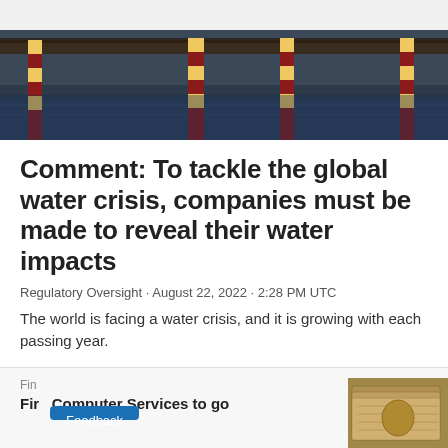[Figure (photo): Photo of flood scene with striped red-and-white poles standing in water, dark sky reflection on water surface.]
Comment: To tackle the global water crisis, companies must be made to reveal their water impacts
Regulatory Oversight · August 22, 2022 · 2:28 PM UTC
The world is facing a water crisis, and it is growing with each passing year.
Fin
Fir   Computer Services to go
[Figure (photo): Photo of stacked money/currency bills.]